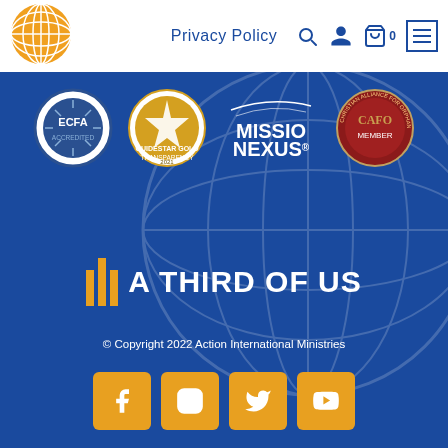[Figure (logo): Orange globe logo top left in white header bar]
Privacy Policy
[Figure (logo): ECFA Accredited circular badge logo]
[Figure (logo): GuideStar Gold Transparency 2021 circular badge]
[Figure (logo): Missio Nexus logo]
[Figure (logo): CAFO Member circular badge]
[Figure (logo): A Third Of Us logo with three vertical bar chart bars]
© Copyright 2022 Action International Ministries
[Figure (infographic): Social media icons: Facebook, Instagram, Twitter, YouTube in orange rounded squares]